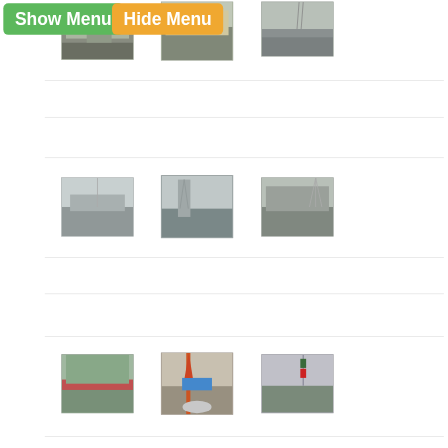[Figure (screenshot): Web interface screenshot showing Show Menu (green button) and Hide Menu (orange button) at top, with a grid layout of outdoor/road scene photos in three rows of three images each. Images show roads, trees, power lines, and street scenes in China.]
[Figure (photo): Outdoor scene with trees and greenery along a road]
[Figure (photo): Billboard or sign with Chinese characters along a road]
[Figure (photo): Road scene with power lines and utility infrastructure]
[Figure (photo): Road with canal and power transmission towers in background]
[Figure (photo): Trees and large power transmission tower]
[Figure (photo): Trees and power transmission tower on right side]
[Figure (photo): Green trees and buildings in background]
[Figure (photo): Street scene with orange traffic cone and blue building]
[Figure (photo): Street scene with traffic signal and bare trees]